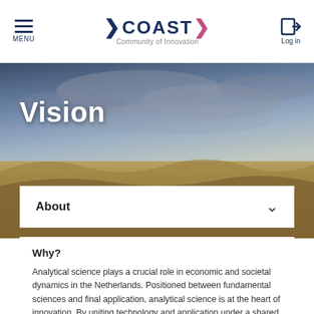MENU  >COAST> Community of Innovation  Log in
[Figure (photo): Panoramic landscape photo with dramatic cloudy sky above desert terrain, used as a hero banner image with the word 'Vision' overlaid in white bold text]
Vision
About
Why?
Analytical science plays a crucial role in economic and societal dynamics in the Netherlands. Positioned between fundamental sciences and final application, analytical science is at the heart of innovation. By uniting technology and application under a shared focus, innovation in analytical science will greatly benefit the top sectors and the societal challenges or mission...